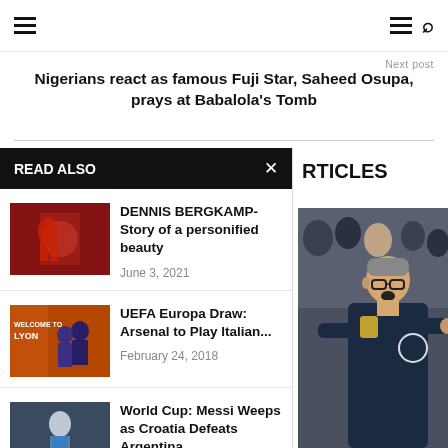Navigation bar with hamburger menu and search icon
Next post
Nigerians react as famous Fuji Star, Saheed Osupa, prays at Babalola's Tomb
READ ALSO
DENNIS BERGKAMP- Story of a personified beauty — June 3, 2021
UEFA Europa Draw: Arsenal to Play Italian... — February 24, 2018
World Cup: Messi Weeps as Croatia Defeats Argentina — June 21, 2018
RELATED ARTICLES
[Figure (photo): Football manager shouting instructions on touchline, wearing a dark blue tracksuit]